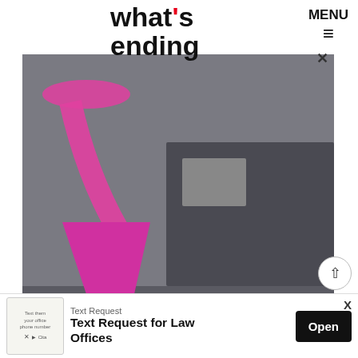what's ending | MENU
o career after One Direction s back in 2016. “Sign of the gle which dropped a year later, hat was to follow. Inspired by 1970’s in his debut album
[Figure (screenshot): Video overlay showing pink liquid being poured through a pink funnel into containers. Text on video reads: 'It's edible and natural who wants to try it🥲'. Pause button visible at bottom left. Close X button visible at top of overlay.]
was smooth with the main elements still present, though having a stronger rock tone throughout. Fine
[Figure (other): Advertisement banner: Text Request logo on left, text 'Text Request for Law Offices', Open button on right. Close X button top right. Scroll-to-top arrow button also visible.]